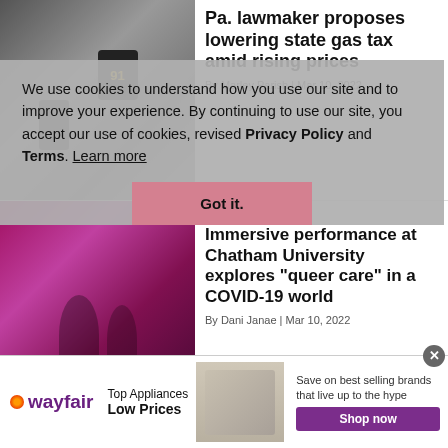[Figure (photo): Gas pump station photo]
Pa. lawmaker proposes lowering state gas tax amid rising prices
By Marley Parish | Mar 10, 2022
[Figure (photo): LGBTQ performance art photo with pink lighting]
LGBTQ
Immersive performance at Chatham University explores "queer care" in a COVID-19 world
By Dani Janae | Mar 10, 2022
[Figure (photo): Pittsburgh students walkout protest crowd photo]
LGBTQ
Pittsburgh students join national walkouts against legislative attacks on LGBTQ youth
We use cookies to understand how you use our site and to improve your experience. By continuing to use our site, you accept our use of cookies, revised Privacy Policy and Terms. Learn more
[Figure (screenshot): Wayfair advertisement banner - Top Appliances Low Prices, Save on best selling brands that live up to the hype, Shop now button]